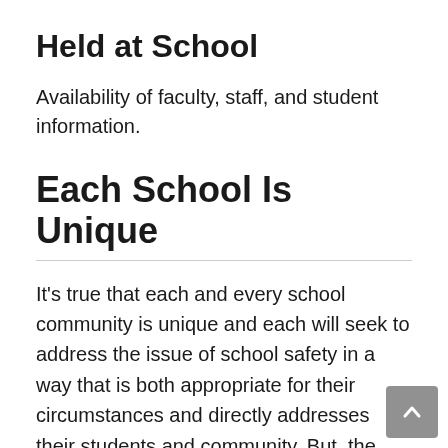Held at School
Availability of faculty, staff, and student information.
Each School Is Unique
It's true that each and every school community is unique and each will seek to address the issue of school safety in a way that is both appropriate for their circumstances and directly addresses their students and community. But, the sad fact remains that there are some schools where, no matter what action they take to increase school safety and mitigate the risk of a school shooting, it is still possible that their efforts could be for naught. They could find